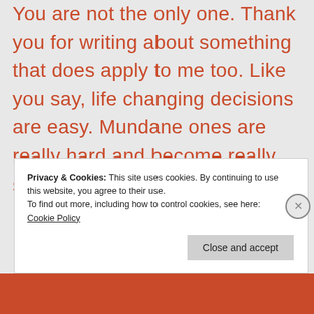You are not the only one. Thank you for writing about something that does apply to me too. Like you say, life changing decisions are easy. Mundane ones are really hard and become really stressful and anxiety provoking. Be kind to yourself x
Privacy & Cookies: This site uses cookies. By continuing to use this website, you agree to their use.
To find out more, including how to control cookies, see here:
Cookie Policy
Close and accept